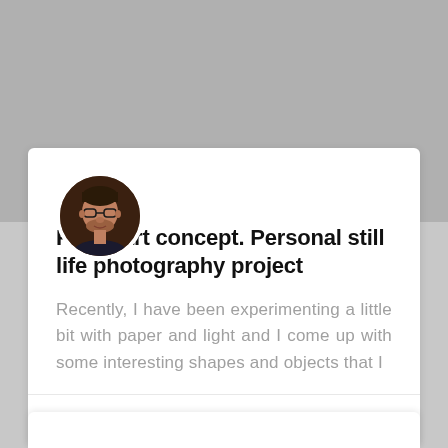[Figure (photo): Gray banner/header background area at top of card]
[Figure (photo): Circular avatar photo of a man with glasses and short hair, wearing a dark shirt]
Paper art concept. Personal still life photography project
Recently, I have been experimenting a little bit with paper and light and I come up with some interesting shapes and objects that I
November 27, 2018 · No Comments